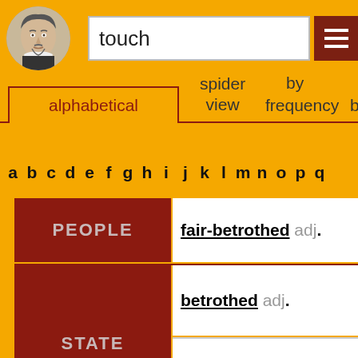[Figure (illustration): Shakespeare portrait in circular frame]
touch
alphabetical   spider view   by frequency   by
a b c d e f g h i j k l m n o p q
| Category | Word |
| --- | --- |
| PEOPLE | fair-betrothed adj. |
| STATE | betrothed adj. |
| STATE | troth-plight n |